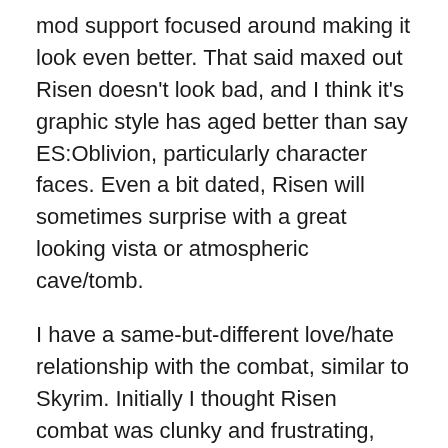mod support focused around making it look even better. That said maxed out Risen doesn't look bad, and I think it's graphic style has aged better than say ES:Oblivion, particularly character faces. Even a bit dated, Risen will sometimes surprise with a great looking vista or atmospheric cave/tomb.
I have a same-but-different love/hate relationship with the combat, similar to Skyrim. Initially I thought Risen combat was clunky and frustrating, especially because the game can be so difficult (more on that later), but the more I play the more I appreciate fighting different monsters, using different weapons, and getting a 'feel' for things. Killing a tougher monster through successful use of combos, blocks, and dodging can be a fist-pump moment, which I think says a lot about the game overall but specifically about the enjoyment of combat.